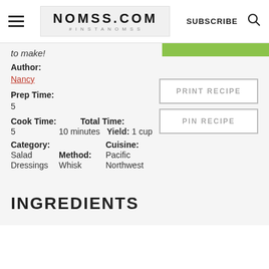NOMSS.COM #INSTANOMSS | SUBSCRIBE
to make!
Author: Nancy
Prep Time: 5
Cook Time: 5   Total Time: 10 minutes   Yield: 1 cup
Category: Salad Dressings   Method: Whisk   Cuisine: Pacific Northwest
INGREDIENTS